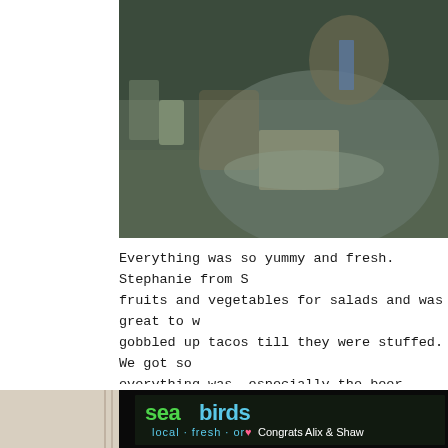[Figure (photo): Photo of a person sitting at a table, appears to be writing or working, warm indoor lighting, partial view cropped at right edge]
Everything was so yummy and fresh. Stephanie from S fruits and vegetables for salads and was great to w gobbled up tacos till they were stuffed. We got so everything was, especially the beer battered avocad
[Figure (photo): Photo of a chalkboard sign for 'seabirds' food truck reading 'local · fresh · or' and '♥ Congrats Alix & Shaw' with 'menu' written below, on a dark chalkboard with colorful chalk lettering]